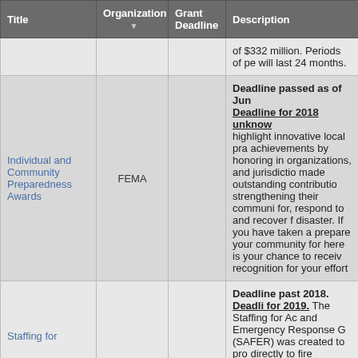| Title | Organization ▼ | Grant Deadline | Description |
| --- | --- | --- | --- |
|  |  |  | of $332 million. Periods of pe will last 24 months. |
| Individual and Community Preparedness Awards | FEMA |  | Deadline passed as of Jun Deadline for 2018 unknow highlight innovative local pra achievements by honoring in organizations, and jurisdictio made outstanding contributio strengthening their communi for, respond to and recover f disaster. If you have taken a prepare your community for here is your chance to receiv recognition for your effort |
| Staffing for |  |  | Deadline past 2018. Deadli for 2019. The Staffing for Ac and Emergency Response G (SAFER) was created to pro directly to fire departments a firefighter interest organizati |